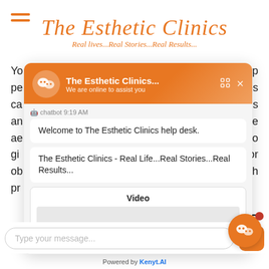The Esthetic Clinics
Real lives...Real Stories...Real Results...
You ... ther by top pe... procedures ca... with gums an... to a more ae... ry similar to gi... purpose or ob... tween both pr...
[Figure (screenshot): Chat popup widget from The Esthetic Clinics showing WeChat-style chatbot interface with header 'The Esthetic Clinics... We are online to assist you', chatbot messages: 'Welcome to The Esthetic Clinics help desk.' and 'The Esthetic Clinics - Real Life...Real Stories...Real Results...', a Video placeholder, and a text input bar 'Type your message...' with send button and 'Powered by Kenyt.AI' footer.]